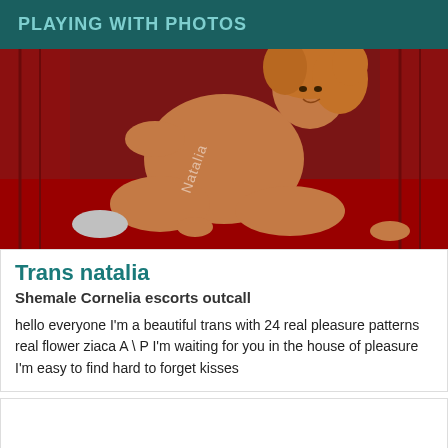PLAYING WITH PHOTOS
[Figure (photo): Photo of Trans natalia posing on a red bed with red curtain background, curly reddish-brown hair, with watermark text 'Natalia' on leg]
Trans natalia
Shemale Cornelia escorts outcall
hello everyone I'm a beautiful trans with 24 real pleasure patterns real flower ziaca A \ P I'm waiting for you in the house of pleasure I'm easy to find hard to forget kisses